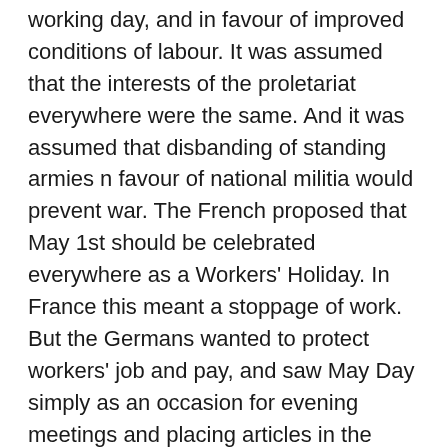working day, and in favour of improved conditions of labour. It was assumed that the interests of the proletariat everywhere were the same. And it was assumed that disbanding of standing armies n favour of national militia would prevent war. The French proposed that May 1st should be celebrated everywhere as a Workers' Holiday. In France this meant a stoppage of work. But the Germans wanted to protect workers' job and pay, and saw May Day simply as an occasion for evening meetings and placing articles in the press.
The Second International had come into being; ending the isolation of the 1870s. But important questions remained. What were the right tactics for a mass party ? Should it aim at revolution or at reform by parliamentary means ? How could Socialists prevent war ?  Who was a true Socialist ?